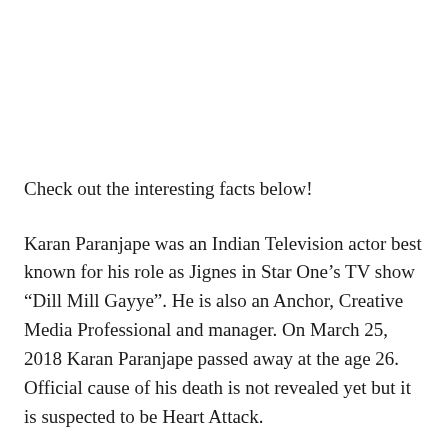Check out the interesting facts below!
Karan Paranjape was an Indian Television actor best known for his role as Jignes in Star One’s TV show “Dill Mill Gayye”. He is also an Anchor, Creative Media Professional and manager. On March 25, 2018 Karan Paranjape passed away at the age 26. Official cause of his death is not revealed yet but it is suspected to be Heart Attack.
Karan was born on May 21, 1991 in Mumbai, Maharashtra, India. Unfortunately details about his family, personal life and